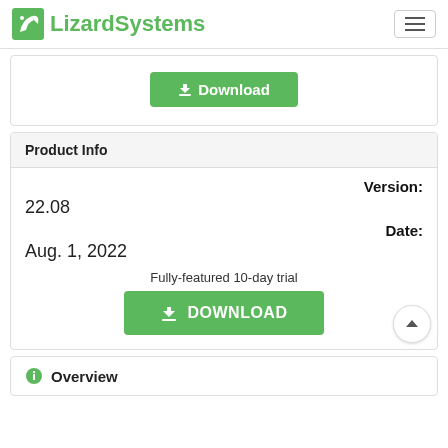LizardSystems
[Figure (screenshot): Download button (small green) in a white card]
Product Info
Version: 22.08
Date: Aug. 1, 2022
Fully-featured 10-day trial
[Figure (screenshot): Large green DOWNLOAD button]
Overview